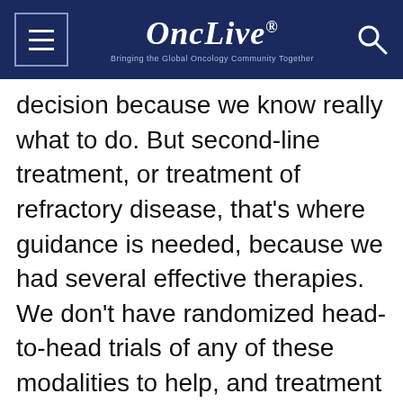OncLive® — Bringing the Global Oncology Community Together
decision because we know really what to do. But second-line treatment, or treatment of refractory disease, that's where guidance is needed, because we had several effective therapies. We don't have randomized head-to-head trials of any of these modalities to help, and treatment is so individualized to the patient.
This website stores data such as cookies to enable essential site functionality, as well as marketing, personalization, and analytics. Cookie Policy
Accept
Deny